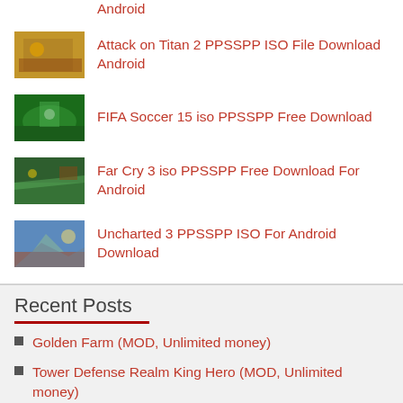Android
Attack on Titan 2 PPSSPP ISO File Download Android
FIFA Soccer 15 iso PPSSPP Free Download
Far Cry 3 iso PPSSPP Free Download For Android
Uncharted 3 PPSSPP ISO For Android Download
Recent Posts
Golden Farm (MOD, Unlimited money)
Tower Defense Realm King Hero (MOD, Unlimited money)
European War 7: Medieval (MOD, Unlimited Money)
Zombie Heroes (MOD, Unlimited